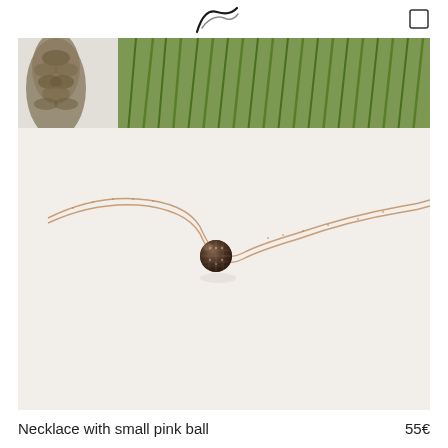[Figure (photo): Product photo of a rose gold necklace with a small pavé-set dark crystal ball pendant, displayed on a white surface with green grass and a pine cone decoration in the background.]
Necklace with small pink ball
55€